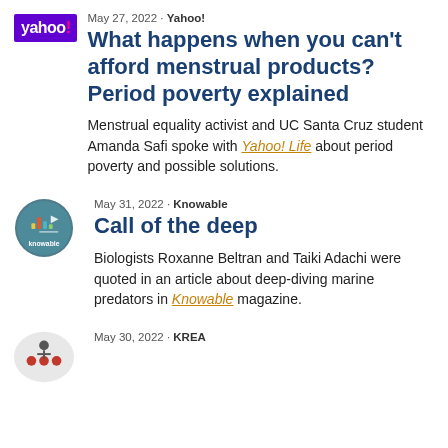[Figure (logo): Yahoo! purple logo]
May 27, 2022 - Yahoo!
What happens when you can't afford menstrual products? Period poverty explained
Menstrual equality activist and UC Santa Cruz student Amanda Safi spoke with Yahoo! Life about period poverty and possible solutions.
[Figure (logo): Knowable magazine circular logo]
May 31, 2022 - Knowable
Call of the deep
Biologists Roxanne Beltran and Taiki Adachi were quoted in an article about deep-diving marine predators in Knowable magazine.
[Figure (logo): KQEA logo partial]
May 30, 2022 - KREA